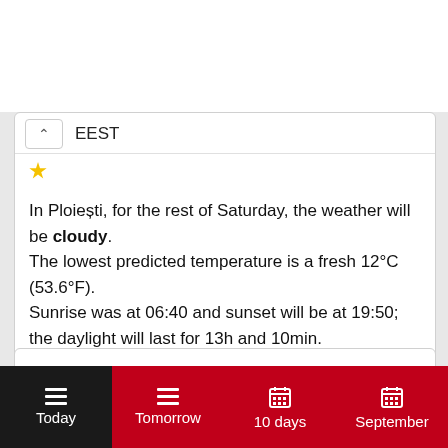EEST
In Ploiești, for the rest of Saturday, the weather will be cloudy.
The lowest predicted temperature is a fresh 12°C (53.6°F).
Sunrise was at 06:40 and sunset will be at 19:50; the daylight will last for 13h and 10min.
Current condition and temperature -
Today  Tomorrow  10 days  September